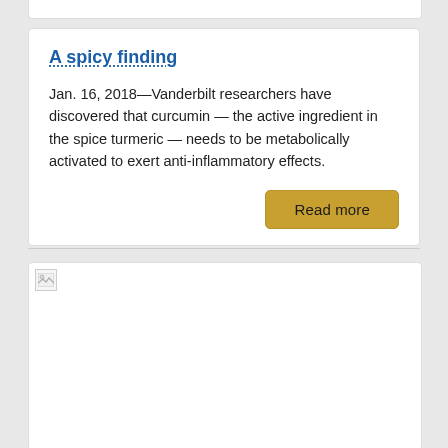A spicy finding
Jan. 16, 2018—Vanderbilt researchers have discovered that curcumin — the active ingredient in the spice turmeric — needs to be metabolically activated to exert anti-inflammatory effects.
Read more
[Figure (photo): Partially loaded image placeholder at the top of a content card, showing a broken image icon in the upper-left corner with empty white space below.]